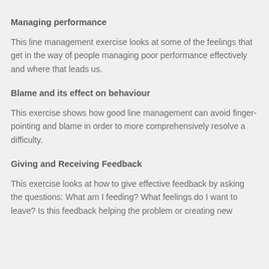Managing performance
This line management exercise looks at some of the feelings that get in the way of people managing poor performance effectively and where that leads us.
Blame and its effect on behaviour
This exercise shows how good line management can avoid finger-pointing and blame in order to more comprehensively resolve a difficulty.
Giving and Receiving Feedback
This exercise looks at how to give effective feedback by asking the questions: What am I feeding? What feelings do I want to leave? Is this feedback helping the problem or creating new